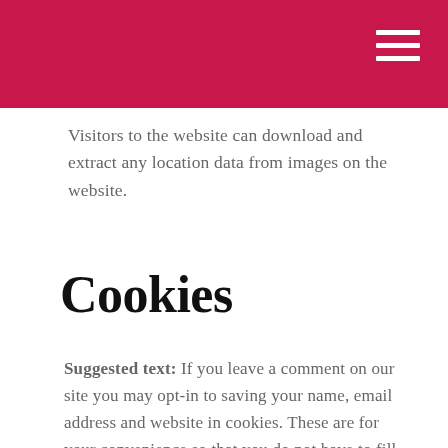Visitors to the website can download and extract any location data from images on the website.
Cookies
Suggested text: If you leave a comment on our site you may opt-in to saving your name, email address and website in cookies. These are for your convenience so that you do not have to fill in your details again when you leave another comment. These cookies will last for one year.
If you visit our login page, we will set a temporary cookie to determine if your browser accepts